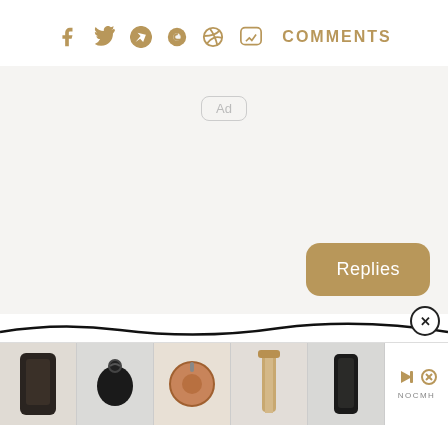[Figure (screenshot): Social media share icons row: Facebook, Twitter, WhatsApp, Reddit, Pinterest, Comment bubble, and COMMENTS text label, all in golden/tan color]
[Figure (screenshot): Ad placeholder area with light gray background, an 'Ad' badge in center top, and a golden 'Replies' button in the bottom right]
[Figure (screenshot): Wave/squiggle divider line with an X (close) button on the right]
[Figure (screenshot): Product advertisement strip showing 5 product thumbnails (phone cases and leather accessories in black and brown) and an ad logo area on the right with play/skip icons and 'NOCMH' text]